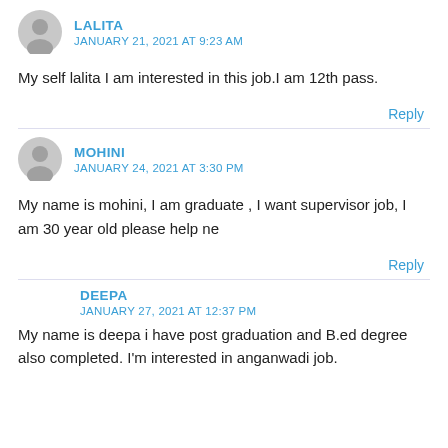LALITA
JANUARY 21, 2021 AT 9:23 AM
My self lalita I am interested in this job.I am 12th pass.
Reply
MOHINI
JANUARY 24, 2021 AT 3:30 PM
My name is mohini, I am graduate , I want supervisor job, I am 30 year old please help ne
Reply
DEEPA
JANUARY 27, 2021 AT 12:37 PM
My name is deepa i have post graduation and B.ed degree also completed. I'm interested in anganwadi job.